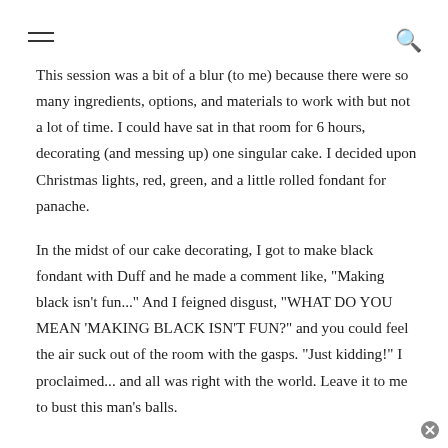≡  🔍
This session was a bit of a blur (to me) because there were so many ingredients, options, and materials to work with but not a lot of time. I could have sat in that room for 6 hours, decorating (and messing up) one singular cake. I decided upon Christmas lights, red, green, and a little rolled fondant for panache.
In the midst of our cake decorating, I got to make black fondant with Duff and he made a comment like, "Making black isn't fun..." And I feigned disgust, "WHAT DO YOU MEAN 'MAKING BLACK ISN'T FUN?" and you could feel the air suck out of the room with the gasps. "Just kidding!" I proclaimed... and all was right with the world. Leave it to me to bust this man's balls.